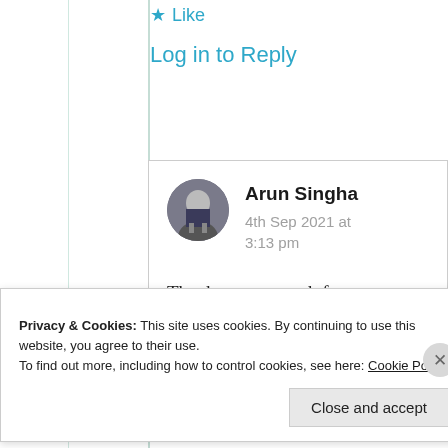★ Like
Log in to Reply
[Figure (photo): Circular profile avatar photo of Arun Singha, a man in a dark suit]
Arun Singha
4th Sep 2021 at 3:13 pm
Thank you so much for your beautiful reply.
Privacy & Cookies: This site uses cookies. By continuing to use this website, you agree to their use.
To find out more, including how to control cookies, see here: Cookie Policy
Close and accept